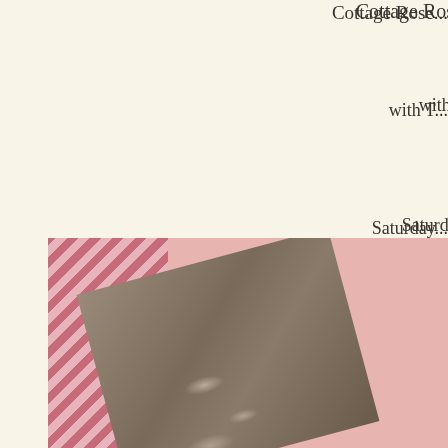Cottage Rose...
with T...
Saturday...
9am - 1...
$45 include...
Al the details can be found...
[Figure (photo): Craft supplies including a rustic wooden piece and pink/striped fabric or paper in pink tones]